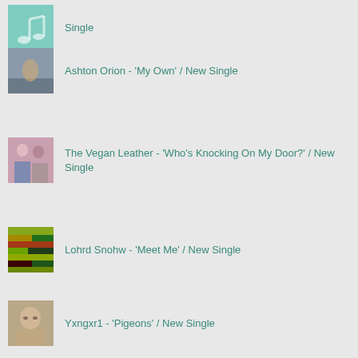Single
Ashton Orion - 'My Own' / New Single
The Vegan Leather - 'Who's Knocking On My Door?' / New Single
Lohrd Snohw - 'Meet Me' / New Single
Yxngxr1 - 'Pigeons' / New Single